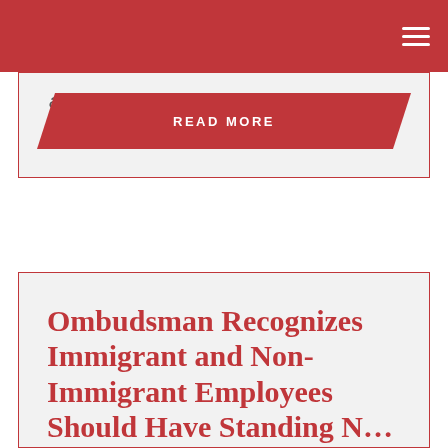and I will very likely be suggesting...
READ MORE
Ombudsman Recognizes Immigrant and Non-Immigrant Employees Should Have Standing N...